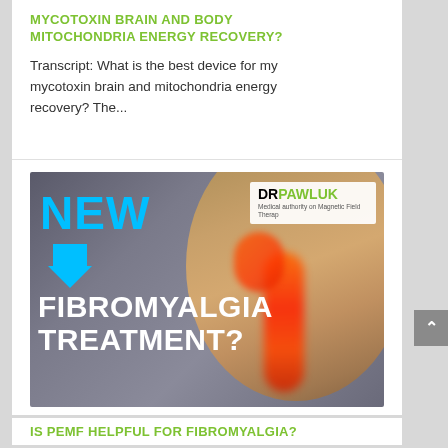MYCOTOXIN BRAIN AND BODY MITOCHONDRIA ENERGY RECOVERY?
Transcript: What is the best device for my mycotoxin brain and mitochondria energy recovery? The...
[Figure (photo): Promotional image for DrPawluk showing a woman from behind with her hand on her neck/back area, with a red glowing spine indicating pain. Text overlay reads 'NEW' with a blue arrow pointing down, and 'FIBROMYALGIA TREATMENT?' in white bold text. DrPawluk logo in top right corner.]
IS PEMF HELPFUL FOR FIBROMYALGIA?